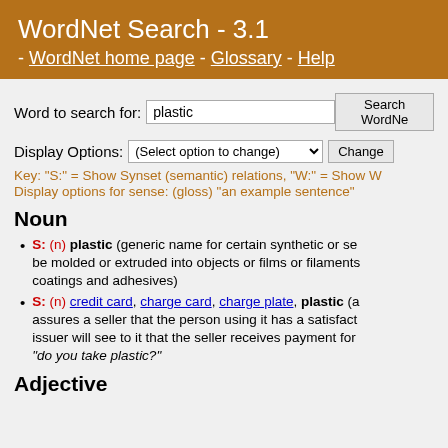WordNet Search - 3.1 - WordNet home page - Glossary - Help
Word to search for: plastic  [Search WordNet button]
Display Options: (Select option to change) [Change button]
Key: "S:" = Show Synset (semantic) relations, "W:" = Show W...
Display options for sense: (gloss) "an example sentence"
Noun
S: (n) plastic (generic name for certain synthetic or se... be molded or extruded into objects or films or filaments... coatings and adhesives)
S: (n) credit card, charge card, charge plate, plastic (a... assures a seller that the person using it has a satisfact... issuer will see to it that the seller receives payment for... "do you take plastic?"
Adjective